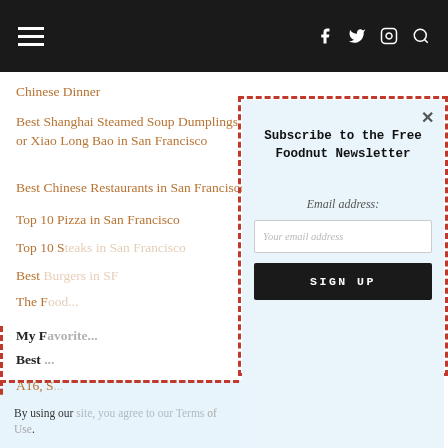Navigation bar with hamburger menu, social icons (f, twitter, instagram) and search
Chinese Dinner
Best Shanghai Steamed Soup Dumplings or Xiao Long Bao in San Francisco
Best Chinese Restaurants in San Francisco
Top 10 Pizza in San Francisco
Top 10 S... in San Francisco
Best ...
The F...
My F... (bold)
Best ... (bold)
A16, S...
Acqu...
Ateli...
By using our... of Use.
Subscribe to the Free Foodnut Newsletter
Email address:
Your email address
SIGN UP